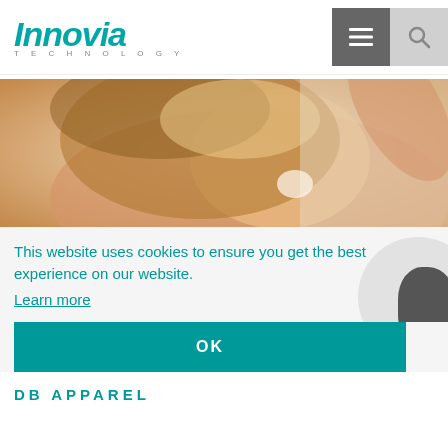Innovia Technology
[Figure (photo): Woman with flowing blonde hair laughing, lifestyle/apparel photo]
This website uses cookies to ensure you get the best experience on our website.
Learn more
OK
DB APPAREL